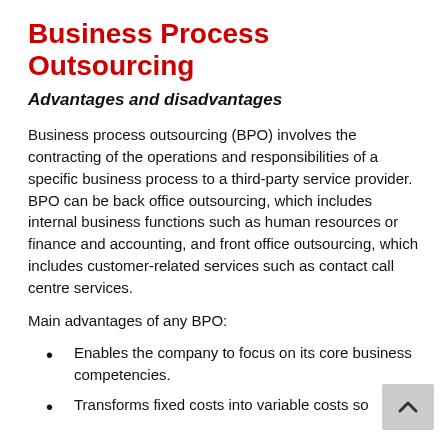Business Process Outsourcing
Advantages and disadvantages
Business process outsourcing (BPO) involves the contracting of the operations and responsibilities of a specific business process to a third-party service provider. BPO can be back office outsourcing, which includes internal business functions such as human resources or finance and accounting, and front office outsourcing, which includes customer-related services such as contact call centre services.
Main advantages of any BPO:
Enables the company to focus on its core business competencies.
Transforms fixed costs into variable costs so